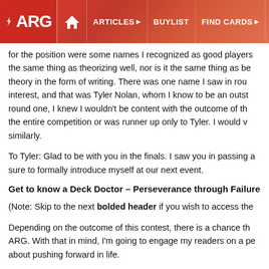ARG - ARTICLES - BUYLIST - FIND CARDS - EVEN
for the position were some names I recognized as good players the same thing as theorizing well, nor is it the same thing as be theory in the form of writing. There was one name I saw in rou interest, and that was Tyler Nolan, whom I know to be an outst round one, I knew I wouldn't be content with the outcome of th the entire competition or was runner up only to Tyler. I would similarly.
To Tyler: Glad to be with you in the finals. I saw you in passing a sure to formally introduce myself at our next event.
Get to know a Deck Doctor – Perseverance through Failure
(Note: Skip to the next bolded header if you wish to access the
Depending on the outcome of this contest, there is a chance th ARG. With that in mind, I'm going to engage my readers on a pe about pushing forward in life.